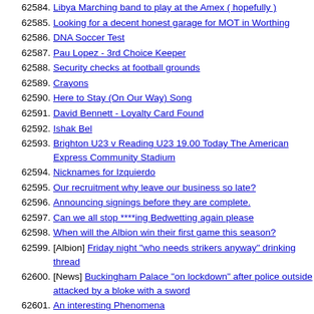62584. Libya Marching band to play at the Amex ( hopefully )
62585. Looking for a decent honest garage for MOT in Worthing
62586. DNA Soccer Test
62587. Pau Lopez - 3rd Choice Keeper
62588. Security checks at football grounds
62589. Crayons
62590. Here to Stay (On Our Way) Song
62591. David Bennett - Loyalty Card Found
62592. Ishak Bel
62593. Brighton U23 v Reading U23 19.00 Today The American Express Community Stadium
62594. Nicknames for Izquierdo
62595. Our recruitment why leave our business so late?
62596. Announcing signings before they are complete.
62597. Can we all stop ****ing Bedwetting again please
62598. When will the Albion win their first game this season?
62599. [Albion] Friday night "who needs strikers anyway" drinking thread
62600. [News] Buckingham Palace "on lockdown" after police outside attacked by a bloke with a sword
62601. An interesting Phenomena
62602. Aboltfro mtheblue
62603. Ben Elton on the Sitcom
62604. Could Gary Goals be the answer to our striker problem?
62605. The difference between men and women on social media?
62606. Striker Light
62607. Watford vs Brighton & Hove Albion ** Official Match